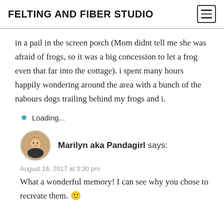FELTING AND FIBER STUDIO
in a pail in the screen porch (Mom didnt tell me she was afraid of frogs, so it was a big concession to let a frog even that far into the cottage). i spent many hours happily wondering around the area with a bunch of the nabours dogs trailing behind my frogs and i.
Loading...
[Figure (photo): Circular avatar photo of a woman with blonde hair]
Marilyn aka Pandagirl says:
August 16, 2017 at 3:30 pm
What a wonderful memory! I can see why you chose to recreate them. 🙂